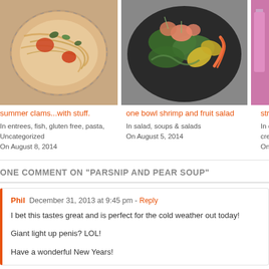[Figure (photo): Food photo of pasta dish with clams, tomatoes and basil in a bowl]
[Figure (photo): Food photo of shrimp and fruit salad with figs, peppers and greens]
[Figure (photo): Partial food photo on right edge, appears pink/purple]
summer clams...with stuff.
In entrees, fish, gluten free, pasta, Uncategorized
On August 8, 2014
one bowl shrimp and fruit salad
In salad, soups & salads
On August 5, 2014
straw
In de
cream
On A
ONE COMMENT ON "PARSNIP AND PEAR SOUP"
Phil December 31, 2013 at 9:45 pm - Reply
I bet this tastes great and is perfect for the cold weather out today!

Giant light up penis? LOL!

Have a wonderful New Years!